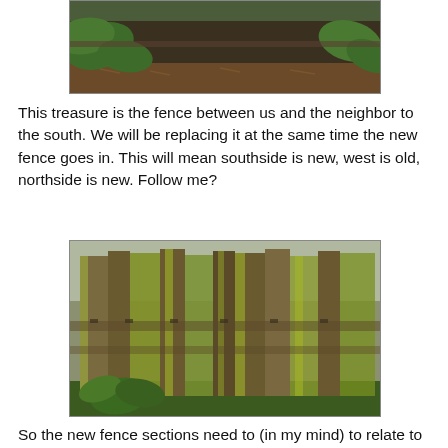[Figure (photo): Photo of a fence between properties with large-leafed plants and mulch ground cover in front of a dark wooden fence panel.]
This treasure is the fence between us and the neighbor to the south. We will be replacing it at the same time the new fence goes in. This will mean southside is new, west is old, northside is new. Follow me?
[Figure (photo): Close-up photo of old weathered wooden fence pickets with green moss/algae growth on them and ferns visible at the bottom.]
So the new fence sections need to (in my mind) to relate to the fence we can't replace, as well as the rest of the garden. I need fence ideas! This one went in last summer, a black or